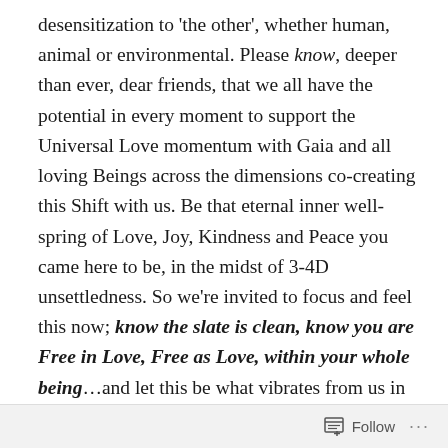desensitization to 'the other', whether human, animal or environmental. Please know, deeper than ever, dear friends, that we all have the potential in every moment to support the Universal Love momentum with Gaia and all loving Beings across the dimensions co-creating this Shift with us. Be that eternal inner well-spring of Love, Joy, Kindness and Peace you came here to be, in the midst of 3-4D unsettledness. So we're invited to focus and feel this now; know the slate is clean, know you are Free in Love, Free as Love, within your whole being…and let this be what vibrates from us in thoughts, words and actions, small or large, into the whole energy field of the planet, as constantly as possible. ❤
As these interplanetary rebirths vibrate back to the Earth,
Follow ···